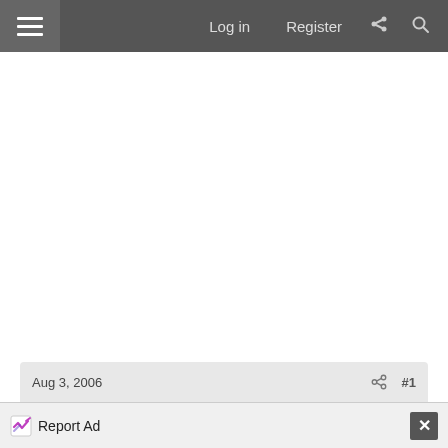Log in  Register
Aug 3, 2006  #1
Report Ad